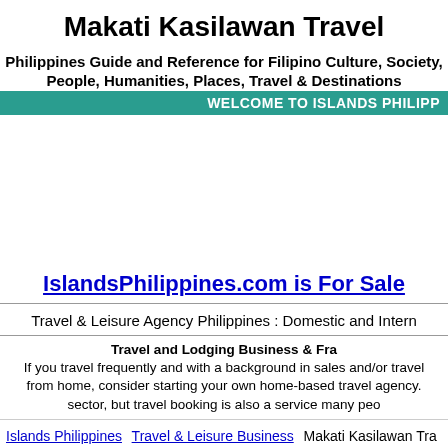Makati Kasilawan Travel
Philippines Guide and Reference for Filipino Culture, Society, People, Humanities, Places, Travel & Destinations
WELCOME TO ISLANDS PHILIPP
IslandsPhilippines.com is For Sale
Travel & Leisure Agency Philippines : Domestic and Intern
Travel and Lodging Business & Fra If you travel frequently and with a background in sales and/or travel from home, consider starting your own home-based travel agency. sector, but travel booking is also a service many peo
Islands Philippines  Travel & Leisure Business  Makati Kasilawan Tra